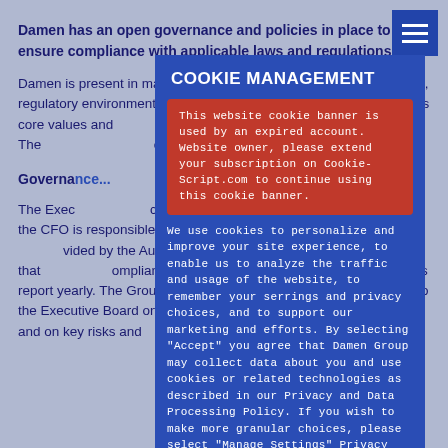Damen has an open governance and policies in place to ensure compliance with applicable laws and regulations.
Damen is present in many countries and, in some of those countries, regulatory environment is diverse and changing. Integrity is one of its core values and ... business principle. This ... compliance governance...
Governance...
The Executive ... accountable for compliance with legislation and the CFO is responsible for compliance management. Oversight is provided by the Audit and Risk Committee that reviews the compliance reports quarterly and the external auditors report yearly. The Group Compliance Officer reports directly to the Executive Board on the progress of the compliance programme and on key risks and
COOKIE MANAGEMENT
This website cookie banner is used by an expired account. Website owner, please extend your subscription on Cookie-Script.com to continue using this cookie banner.
We use cookies to personalize and improve your site experience, to enable us to analyze the traffic and usage of the website, to remember your serrings and privacy choices, and to support our marketing and efforts. By selecting "Accept" you agree that Damen Group may collect data about you and use cookies or related technologies as described in our Privacy and Data Processing Policy. If you wish to make more granular choices, please select "Manage Settings" Privacy and Data Processing Policy
Accept all cookies
Manage settings